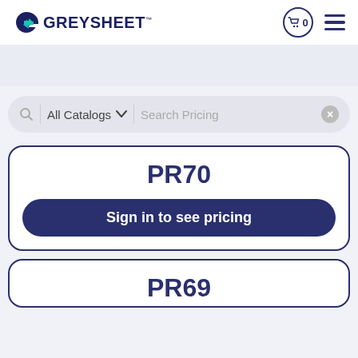[Figure (logo): Greysheet logo with stylized G icon and GREYSHEET text in dark navy blue, with TM mark]
[Figure (screenshot): Search bar with All Catalogs dropdown and Search Pricing input field]
PR70
Sign in to see pricing
PR69